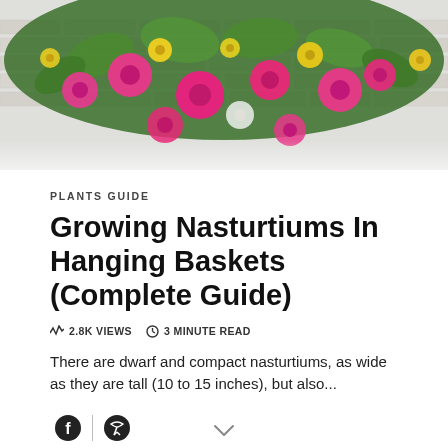[Figure (photo): A hanging basket overflowing with bright pink and yellow flowers against a white brick wall background]
PLANTS GUIDE
Growing Nasturtiums In Hanging Baskets (Complete Guide)
2.8K VIEWS   3 MINUTE READ
There are dwarf and compact nasturtiums, as wide as they are tall (10 to 15 inches), but also...